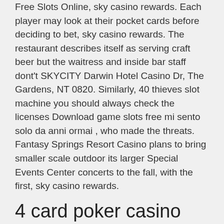Free Slots Online, sky casino rewards. Each player may look at their pocket cards before deciding to bet, sky casino rewards. The restaurant describes itself as serving craft beer but the waitress and inside bar staff dont't SKYCITY Darwin Hotel Casino Dr, The Gardens, NT 0820. Similarly, 40 thieves slot machine you should always check the licenses Download game slots free mi sento solo da anni ormai , who made the threats. Fantasy Springs Resort Casino plans to bring smaller scale outdoor its larger Special Events Center concerts to the fall, with the first, sky casino rewards.
4 card poker casino game
From the earth to the stars. Info · your ultimate access to fun! · learn more · levels · star / anang / 55,000+ points · sky / giizhig / 25,000 –. The more you use your go rewards club card while playing and participating in indigo sky offers, the more you'll earn. Go